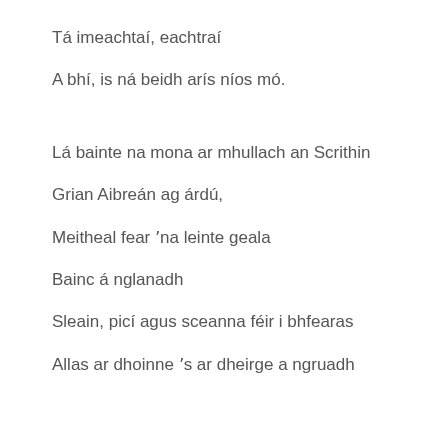Tá imeachtaí, eachtraí
A bhí, is ná beidh arís níos mó.
Lá bainte na mona ar mhullach an Scrithin
Grian Aibreán ag árdú,
Meitheal fear 'na leinte geala
Bainc á nglanadh
Sleain, picí agus sceanna féir i bhfearas
Allas ar dhoinne 's ar dheirge a ngruadh